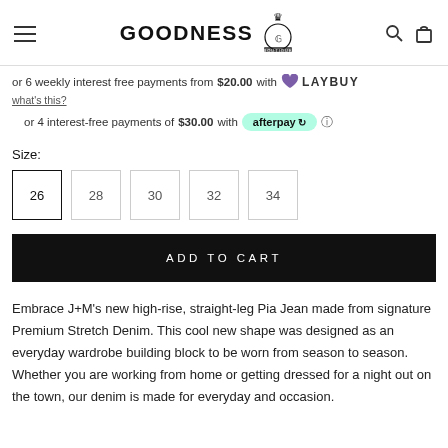GOODNESS BOUTIQUE — navigation header with hamburger menu, logo, search and cart icons
or 6 weekly interest free payments from $20.00 with Laybuy
what's this?
or 4 interest-free payments of $30.00 with Afterpay
Size:
26
28
30
32
34
ADD TO CART
Embrace J+M's new high-rise, straight-leg Pia Jean made from signature Premium Stretch Denim. This cool new shape was designed as an everyday wardrobe building block to be worn from season to season. Whether you are working from home or getting dressed for a night out on the town, our denim is made for everyday and occasion.